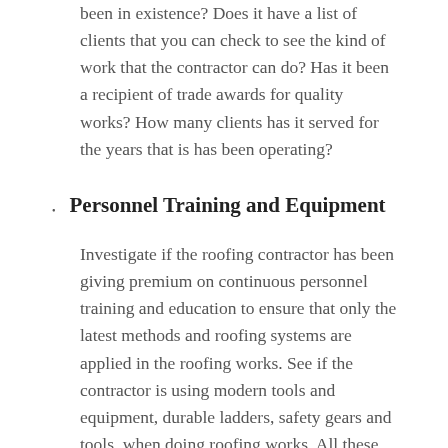been in existence? Does it have a list of clients that you can check to see the kind of work that the contractor can do? Has it been a recipient of trade awards for quality works? How many clients has it served for the years that is has been operating?
Personnel Training and Equipment
Investigate if the roofing contractor has been giving premium on continuous personnel training and education to ensure that only the latest methods and roofing systems are applied in the roofing works. See if the contractor is using modern tools and equipment, durable ladders, safety gears and tools, when doing roofing works. All these will give you an assurance that the company is